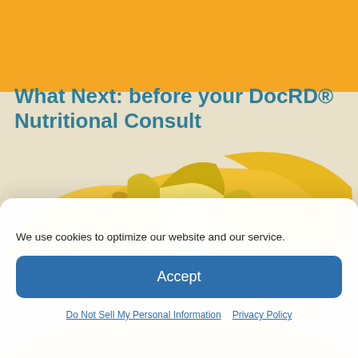What Next: before your DocRD® Nutritional Consult
By Dr. Michael Todd Greene, Ed.D., M.S., R.D.N. August 27, 2018 HealthCare Nutrition Consultant, Medical Nutrition Therapy, Nutrition and Diet Consultation, Nutrition Counseling, Outpatient Nutritional Consult, Uncategorized 1 Comment
[Figure (photo): A group of yellow bananas piled together, with one partially peeled banana on top]
DocRD® Nutritional Consultation
We use cookies to optimize our website and our service.
Accept
Do Not Sell My Personal Information   Privacy Policy